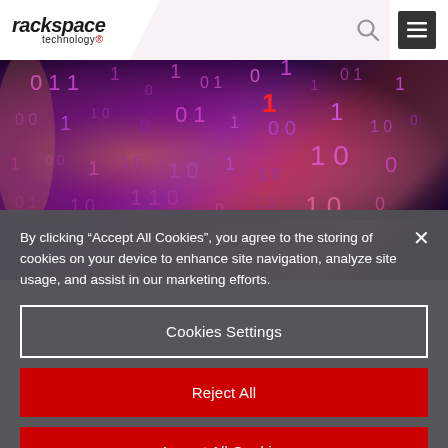[Figure (screenshot): Rackspace Technology website screenshot showing navigation bar with logo, search icon, hamburger menu icon, a hero image of glowing binary code digits in purple and red tones, and a cookie consent overlay with 'Cookies Settings', 'Reject All', and 'Accept All Cookies' buttons.]
By clicking “Accept All Cookies”, you agree to the storing of cookies on your device to enhance site navigation, analyze site usage, and assist in our marketing efforts.
Cookies Settings
Reject All
Accept All Cookies